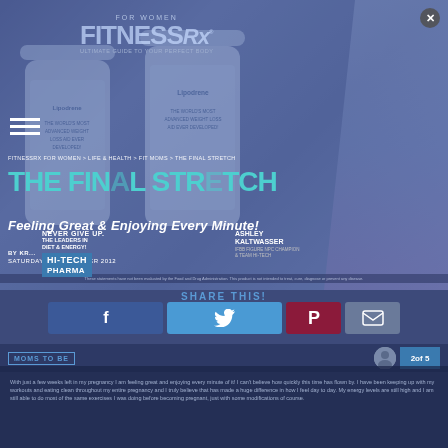[Figure (screenshot): FitnessRx For Women website screenshot showing advertisement overlay with Lipodrene supplement bottles, Hi-Tech Pharma ad, and article page for 'The Final Stretch' by Kris, Saturday 15 September 2012]
FOR WOMEN FITNESSRX
FITNESSRX FOR WOMEN > LIFE & HEALTH > FIT MOMS > THE FINAL STRETCH
THE FINAL STRETCH
Feeling Great & Enjoying Every Minute!
NEVER GIVE UP. THE LEADERS IN DIET & ENERGY!
HI-TECH PHARMA
ASHLEY KALTWASSER
BY KR...
SATURDAY, 15 SEPTEMBER 2012
These statements have not been evaluated by the Food and Drug Administration. This product is not intended to treat, cure, diagnose or prevent any disease.
SHARE THIS!
MOMS TO BE
Article body text about pregnancy fitness